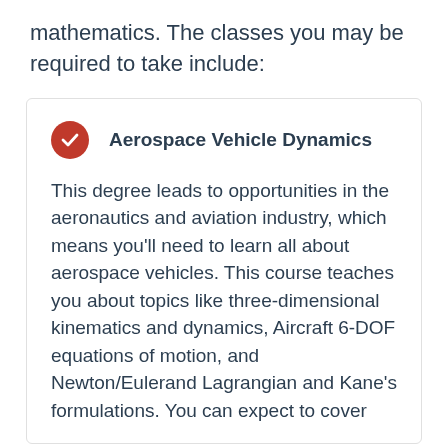mathematics. The classes you may be required to take include:
Aerospace Vehicle Dynamics
This degree leads to opportunities in the aeronautics and aviation industry, which means you'll need to learn all about aerospace vehicles. This course teaches you about topics like three-dimensional kinematics and dynamics, Aircraft 6-DOF equations of motion, and Newton/Eulerand Lagrangian and Kane's formulations. You can expect to cover